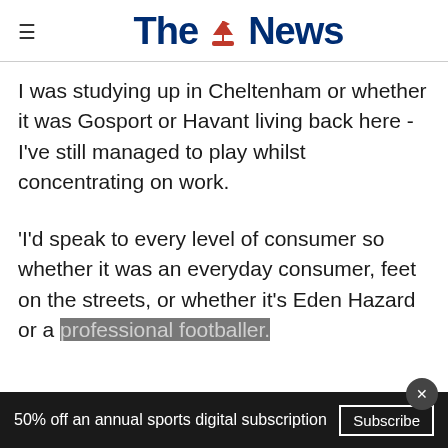The News
I was studying up in Cheltenham or whether it was Gosport or Havant living back here - I've still managed to play whilst concentrating on work.
'I'd speak to every level of consumer so whether it was an everyday consumer, feet on the streets, or whether it's Eden Hazard or a professional footballer.
50% off an annual sports digital subscription  Subscribe